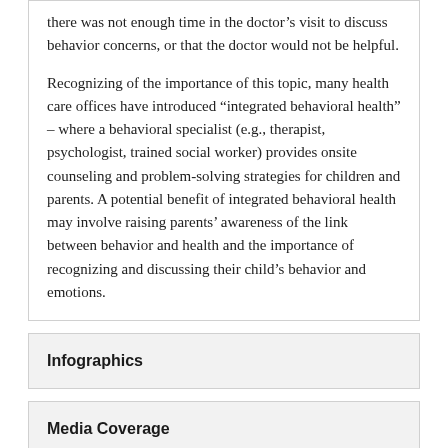there was not enough time in the doctor's visit to discuss behavior concerns, or that the doctor would not be helpful.

Recognizing of the importance of this topic, many health care offices have introduced “integrated behavioral health” – where a behavioral specialist (e.g., therapist, psychologist, trained social worker) provides onsite counseling and problem-solving strategies for children and parents. A potential benefit of integrated behavioral health may involve raising parents’ awareness of the link between behavior and health and the importance of recognizing and discussing their child’s behavior and emotions.
Infographics
Media Coverage
Methods